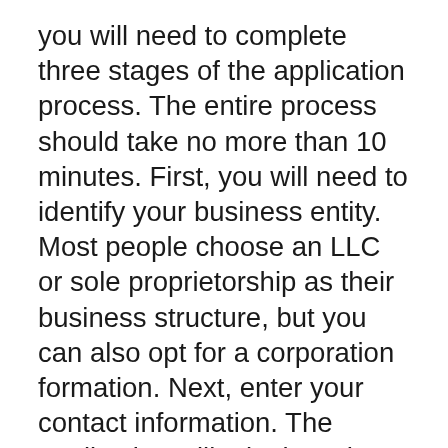you will need to complete three stages of the application process. The entire process should take no more than 10 minutes. First, you will need to identify your business entity. Most people choose an LLC or sole proprietorship as their business structure, but you can also opt for a corporation formation. Next, enter your contact information. The application will take less than 10 minutes. You can also chat with an agent or email if you have any questions.
Inc Authority's customer support is another important aspect. Dedicated representatives are available to answer your questions via live chat, email, or phone. You can also choose between multiple design options for 500 personalized business cards. This option